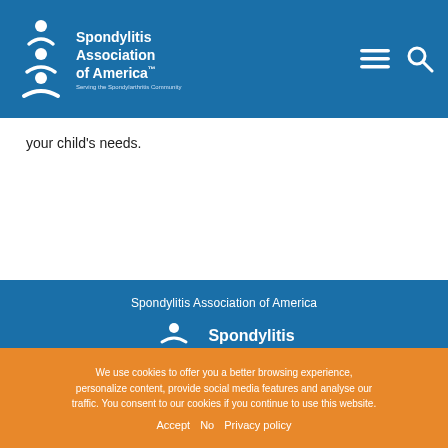Spondylitis Association of America — navigation header
your child's needs.
[Figure (logo): Spondylitis Association of America logo with text in white on blue background, footer version]
Spondylitis Association of America
Our social networks
We use cookies to offer you a better browsing experience, personalize content, provide social media features and analyse our traffic. You consent to our cookies if you continue to use this website. Accept  No  Privacy policy